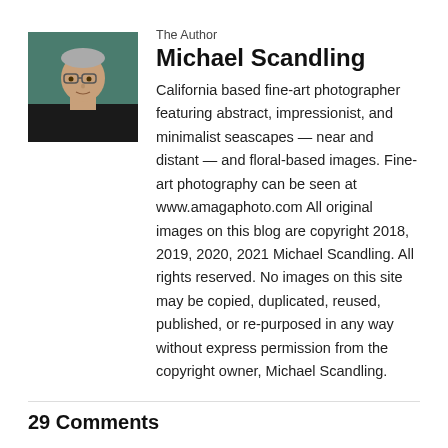[Figure (photo): Headshot photo of Michael Scandling, a man wearing glasses and a dark shirt against a teal/green background]
The Author
Michael Scandling
California based fine-art photographer featuring abstract, impressionist, and minimalist seascapes — near and distant — and floral-based images. Fine-art photography can be seen at www.amagaphoto.com All original images on this blog are copyright 2018, 2019, 2020, 2021 Michael Scandling. All rights reserved. No images on this site may be copied, duplicated, reused, published, or re-purposed in any way without express permission from the copyright owner, Michael Scandling.
29 Comments